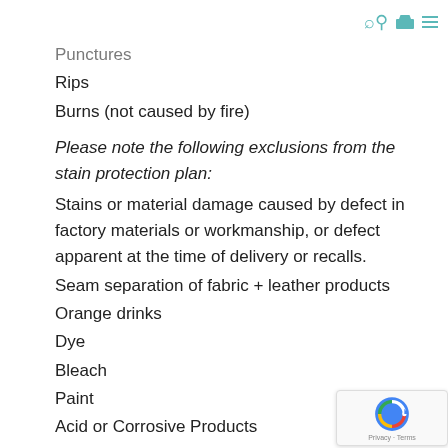Punctures
Rips
Burns (not caused by fire)
Please note the following exclusions from the stain protection plan:
Stains or material damage caused by defect in factory materials or workmanship, or defect apparent at the time of delivery or recalls.
Seam separation of fabric + leather products
Orange drinks
Dye
Bleach
Paint
Acid or Corrosive Products
Felt tip markers
Chewing Gum